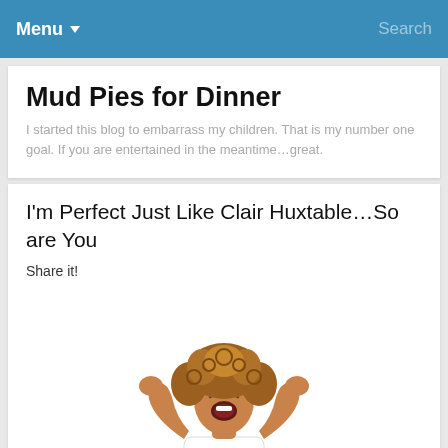Menu ▼  Search
Mud Pies for Dinner
I started this blog to embarrass my children. That is my number one goal. If you are entertained in the meantime…great.
I'm Perfect Just Like Clair Huxtable…So are You
Share it!
[Figure (photo): A woman with curly reddish-brown hair holding her hands to her head and screaming with eyes closed, wearing a white top, on a white background]